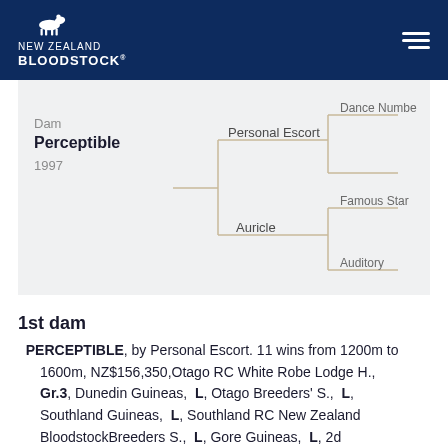NEW ZEALAND BLOODSTOCK
[Figure (other): Pedigree diagram showing Dam: Perceptible (1997), sire line Personal Escort with Dance Number, and dam line Auricle with Famous Star and Auditory]
1st dam
PERCEPTIBLE, by Personal Escort. 11 wins from 1200m to 1600m, NZ$156,350,Otago RC White Robe Lodge H., Gr.3, Dunedin Guineas, L, Otago Breeders' S., L, Southland Guineas, L, Southland RC New Zealand BloodstockBreeders S., L, Gore Guineas, L, 2d Manawatu RC Agrement Gold Cup, Gr.3, 3d CJC...